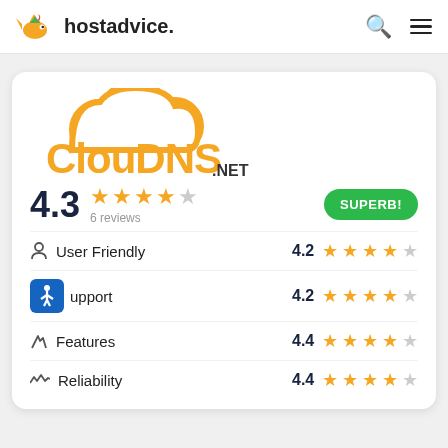hostadvice.
[Figure (logo): ClouDNS.net logo with orange cloud and text]
4.3 ★★★★☆ 6 reviews SUPERB!
User Friendly 4.2 ★★★★☆
Support 4.2 ★★★★☆
Features 4.4 ★★★★☆
Reliability 4.4 ★★★★☆